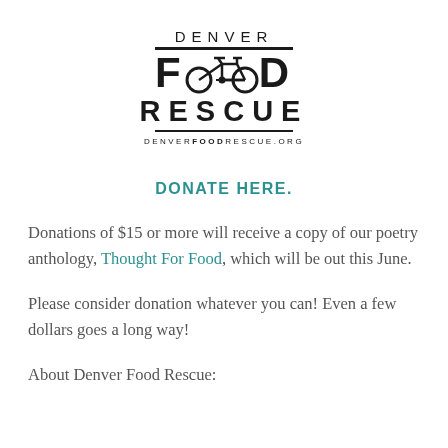[Figure (logo): Denver Food Rescue logo with bicycle icon, horizontal lines, and website URL DENVERFOODRESCUE.ORG]
DONATE HERE.
Donations of $15 or more will receive a copy of our poetry anthology, Thought For Food, which will be out this June.
Please consider donation whatever you can! Even a few dollars goes a long way!
About Denver Food Rescue: